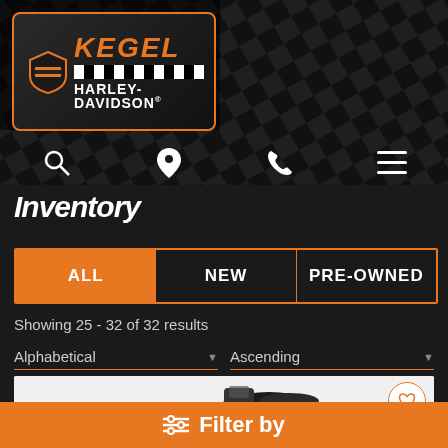[Figure (screenshot): Kegel Harley-Davidson logo with checkered flag background header]
[Figure (screenshot): Navigation icons: search, location pin, phone, hamburger menu]
Inventory
ALL | NEW | PRE-OWNED tab selector, ALL tab active
Showing 25 - 32 of 32 results
Alphabetical ▼   Ascending ▼
[Figure (photo): Harley-Davidson motorcycle partial view with heart/favorite button]
Filter by